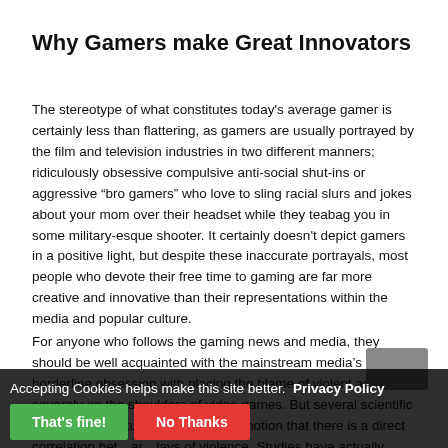Why Gamers make Great Innovators
The stereotype of what constitutes today's average gamer is certainly less than flattering, as gamers are usually portrayed by the film and television industries in two different manners; ridiculously obsessive compulsive anti-social shut-ins or aggressive “bro gamers” who love to sling racial slurs and jokes about your mom over their headset while they teabag you in some military-esque shooter. It certainly doesn't depict gamers in a positive light, but despite these inaccurate portrayals, most people who devote their free time to gaming are far more creative and innovative than their representations within the media and popular culture.
For anyone who follows the gaming news and media, they should be well acquainted with the mainstream media’s borderline obsession with placing the blame of violent acts squarely on the shoulders of video games. But several scientific studies have actually disproved the notion that there is a direct correlation between gaming and displays of violence. Studies have actually found the opposite. Fordham
Accepting Cookies helps make this site better. Privacy Policy